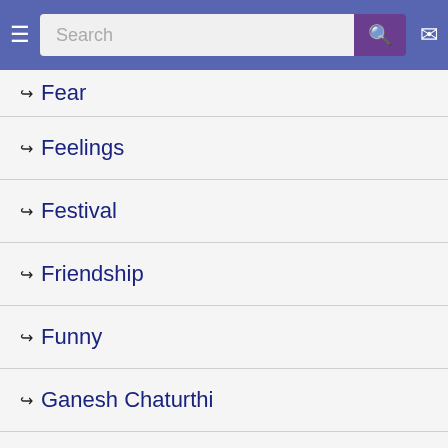[Figure (screenshot): Mobile app header with hamburger menu, search bar, search button, and mail icon on blue background]
↪ Fear
↪ Feelings
↪ Festival
↪ Friendship
↪ Funny
↪ Ganesh Chaturthi
↪ Gardening